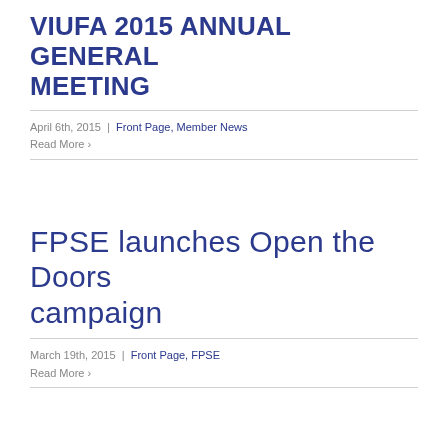VIUFA 2015 ANNUAL GENERAL MEETING
April 6th, 2015 | Front Page, Member News
Read More >
FPSE launches Open the Doors campaign
March 19th, 2015 | Front Page, FPSE
Read More >
VIUFA Community Engagement Award 2015